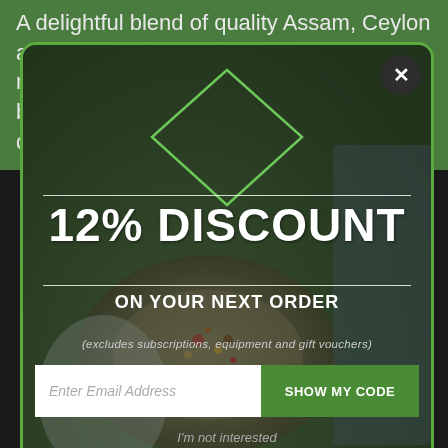A delightful blend of quality Assam, Ceylon and Darjeeling teas, English Afternoon reveals the delicate, complex flavours of black Indian teas at their best. It is delicious when prepared with a
[Figure (screenshot): Popup modal overlay with green border on a tea product page offering 12% discount on next order. Contains email input field with 'SHOW MY CODE' button, 'I'm not interested' link, fine print disclaimer, and Powered by AIVA branding.]
12% DISCOUNT
ON YOUR NEXT ORDER
(excludes subscriptions, equipment and gift vouchers)
Enter Email Address
SHOW MY CODE
I'm not interested
By completing this form you are signing up to receive our emails and can unsubscribe at any time. Limited to one use per customer.
Powered by AIVA
ACCEPT